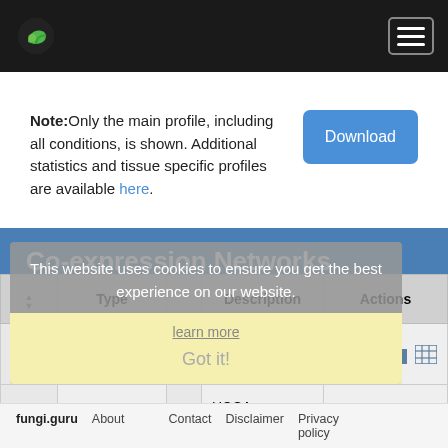fungi.guru navigation header with logo and menu
Note: Only the main profile, including all conditions, is shown. Additional statistics and tissue specific profiles are available here.
Co-expression Networks
| Type | Description | Actions |
| --- | --- | --- |
| Neighborhood | HRR: EGR52205 | icons |
| Cluster | HCCA: Cluster_6 | icons |
This website uses cookies to ensure you get the best experience on our website. learn more Got it!
fungi.guru  About  Contact  Disclaimer  Privacy policy